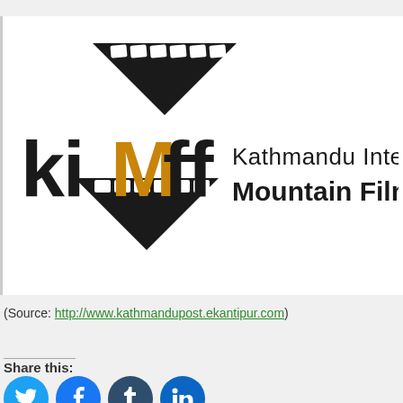[Figure (logo): KIMFF - Kathmandu International Mountain Film Festival logo with film strip graphic and stylized lettering]
(Source: http://www.kathmandupost.ekantipur.com)
Share this:
[Figure (other): Social media share buttons: Twitter, Facebook, Tumblr, LinkedIn]